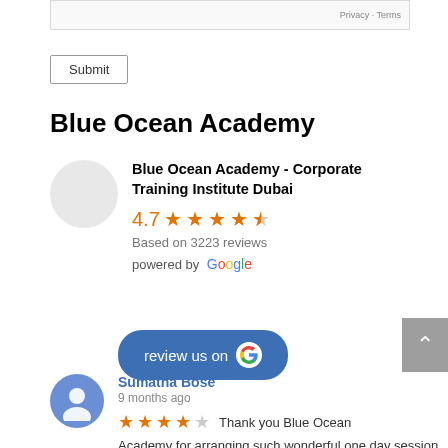[Figure (screenshot): reCAPTCHA bar with Privacy and Terms links]
Submit
Blue Ocean Academy
Blue Ocean Academy - Corporate Training Institute Dubai
4.7 ★★★★½ Based on 3223 reviews powered by Google
[Figure (other): review us on Google button]
Sumatha Bose
9 months ago
★★★★☆ Thank you Blue Ocean Academy for arranging such wonderful one day session on CILT -Leadership course. The workshop was... read more